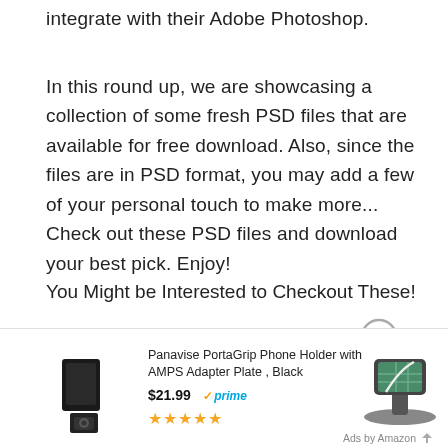integrate with their Adobe Photoshop.
In this round up, we are showcasing a collection of some fresh PSD files that are available for free download. Also, since the files are in PSD format, you may add a few of your personal touch to make more... Check out these PSD files and download your best pick. Enjoy!
You Might be Interested to Checkout These!
[Figure (other): Amazon product advertisement showing Panavise PortaGrip Phone Holder with AMPS Adapter Plate, Black priced at $21.99 with Prime shipping and 5 star rating, with product images and an Ads by Amazon label]